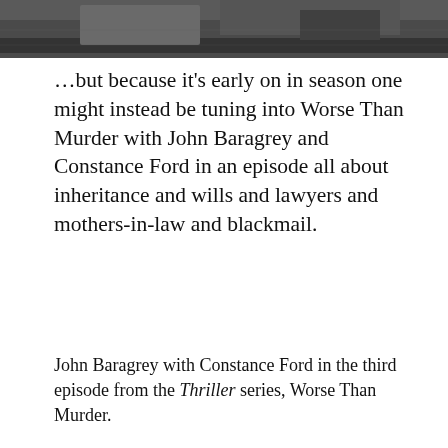[Figure (photo): Top portion of a black and white photograph, cropped, showing partial view of a person]
…but because it’s early on in season one might instead be tuning into Worse Than Murder with John Baragrey and Constance Ford in an episode all about inheritance and wills and lawyers and mothers-in-law and blackmail.
John Baragrey with Constance Ford in the third episode from the Thriller series, Worse Than Murder.
[Figure (photo): Black and white photograph showing John Baragrey from the Thriller TV series episode Worse Than Murder]